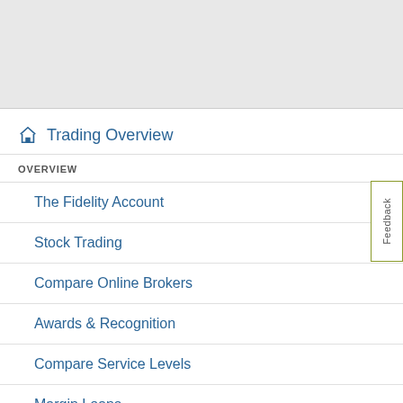[Figure (other): Gray shaded area at top of page, likely a header image or banner placeholder]
Trading Overview
OVERVIEW
The Fidelity Account
Stock Trading
Compare Online Brokers
Awards & Recognition
Compare Service Levels
Margin Loans